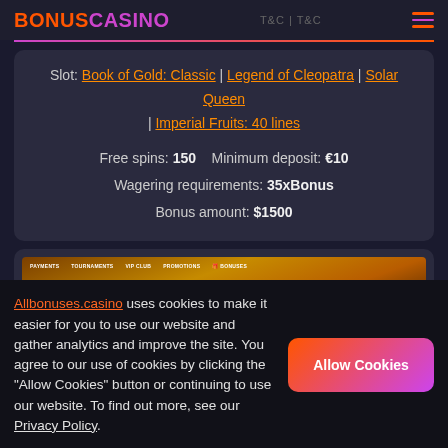BONUSCASINO | T&C
Slot: Book of Gold: Classic | Legend of Cleopatra | Solar Queen | Imperial Fruits: 40 lines
Free spins: 150   Minimum deposit: €10
Wagering requirements: 35xBonus
Bonus amount: $1500
[Figure (screenshot): Casino website screenshot showing navigation menu and Ukraine donation banner]
Allbonuses.casino uses cookies to make it easier for you to use our website and gather analytics and improve the site. You agree to our use of cookies by clicking the "Allow Cookies" button or continuing to use our website. To find out more, see our Privacy Policy.